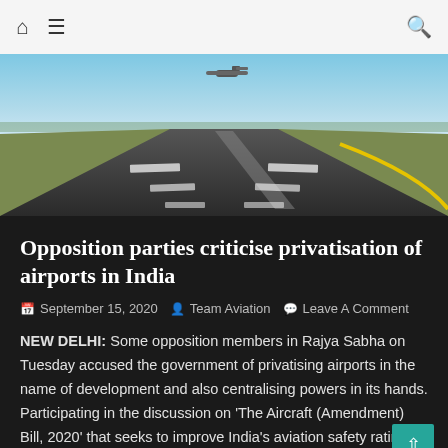Home Menu Search
[Figure (photo): Airport runway perspective shot with an airplane taking off in the background, clear sky visible, yellow runway markings visible.]
Opposition parties criticise privatisation of airports in India
September 15, 2020  Team Aviation  Leave A Comment
NEW DELHI: Some opposition members in Rajya Sabha on Tuesday accused the government of privatising airports in the name of development and also centralising powers in its hands. Participating in the discussion on 'The Aircraft (Amendment) Bill, 2020' that seeks to improve India's aviation safety ratings and provide statutory status to regulatory